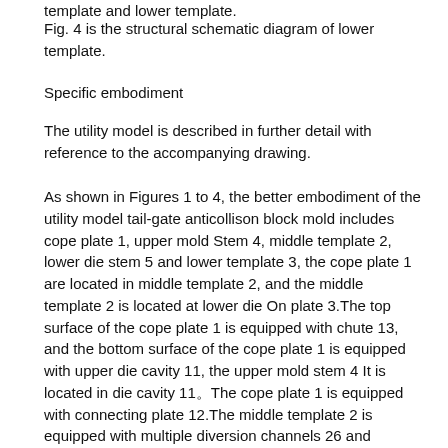template and lower template.
Fig. 4 is the structural schematic diagram of lower template.
Specific embodiment
The utility model is described in further detail with reference to the accompanying drawing.
As shown in Figures 1 to 4, the better embodiment of the utility model tail-gate anticollison block mold includes cope plate 1, upper mold Stem 4, middle template 2, lower die stem 5 and lower template 3, the cope plate 1 are located in middle template 2, and the middle template 2 is located at lower die On plate 3.The top surface of the cope plate 1 is equipped with chute 13, and the bottom surface of the cope plate 1 is equipped with upper die cavity 11, the upper mold stem 4 It is located in die cavity 11。The cope plate 1 is equipped with connecting plate 12.The middle template 2 is equipped with multiple diversion channels 26 and multiple moulds Hole 27, the chute 13 are connected to through cope plate 1 with diversion channel 26, each diversion channel 26 set there are four feeding inlet, each one of feeding. The mould molding hole 27, from that the